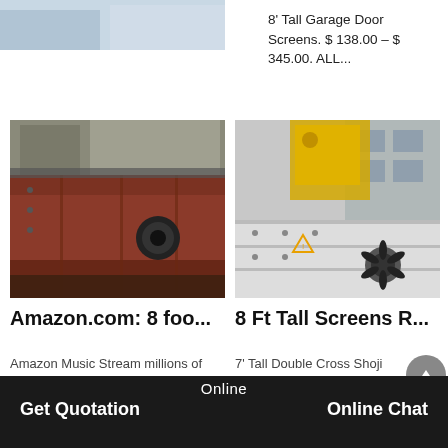Jul 01, 2021 View Screen Shot 2021-07-01 at 8.38.22 PM.p...
8’ Tall Garage Door Screens. $ 138.00 – $ 345.00. ALL...
[Figure (photo): Industrial metal box/container with rusty red/brown finish in a factory or warehouse setting]
[Figure (photo): White garage door screen panels laid flat outdoors with a yellow crane/machine visible in background]
Amazon.com: 8 foo...
8 Ft Tall Screens R...
Amazon Music Stream millions of songs: Amazon Advertisin...
7’ Tall Double Cross Shoji Screen, White, 4 Panels by...
[Figure (photo): Partial view of bottom-left image, light blue/grey tones]
[Figure (photo): Partial view of bottom-right image, grey building]
Online  Get Quotation  Online Chat